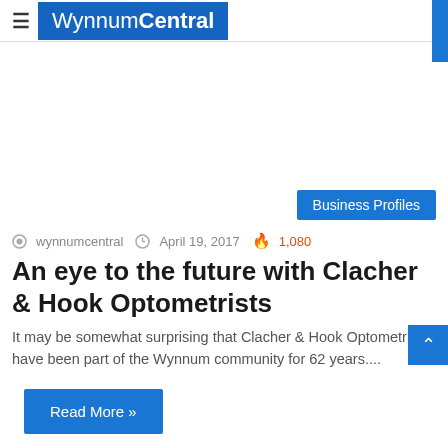WynnumCentral
Business Profiles
wynnumcentral  April 19, 2017  1,080
An eye to the future with Clacher & Hook Optometrists
It may be somewhat surprising that Clacher & Hook Optometrists have been part of the Wynnum community for 62 years....
Read More »